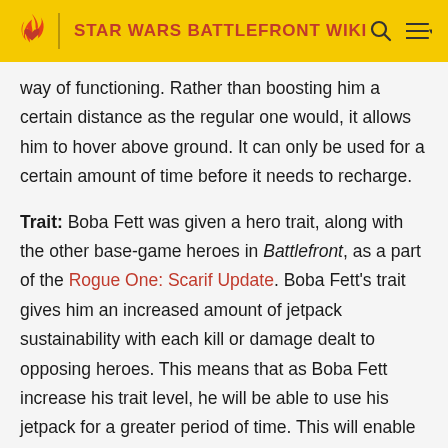STAR WARS BATTLEFRONT WIKI
way of functioning. Rather than boosting him a certain distance as the regular one would, it allows him to hover above ground. It can only be used for a certain amount of time before it needs to recharge.
Trait: Boba Fett was given a hero trait, along with the other base-game heroes in Battlefront, as a part of the Rogue One: Scarif Update. Boba Fett's trait gives him an increased amount of jetpack sustainability with each kill or damage dealt to opposing heroes. This means that as Boba Fett increase his trait level, he will be able to use his jetpack for a greater period of time. This will enable Boba Fett to be a primary threat in the air, where he is most effective, rather than on the ground of the Battlefront.